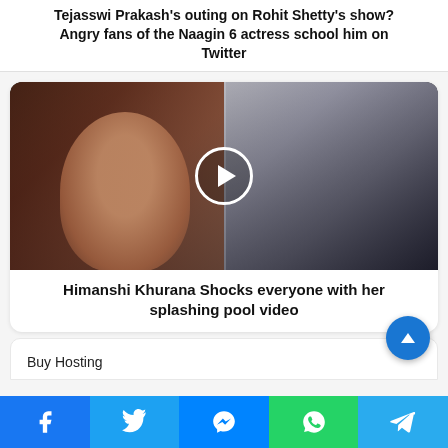Tejasswi Prakash's outing on Rohit Shetty's show? Angry fans of the Naagin 6 actress school him on Twitter
[Figure (photo): Split image: left side shows a woman in a black strapless outfit with a play button overlay in the center; right side shows a woman in a black dress taking a mirror selfie.]
Himanshi Khurana Shocks everyone with her splashing pool video
Buy Hosting
Facebook | Twitter | Messenger | WhatsApp | Telegram